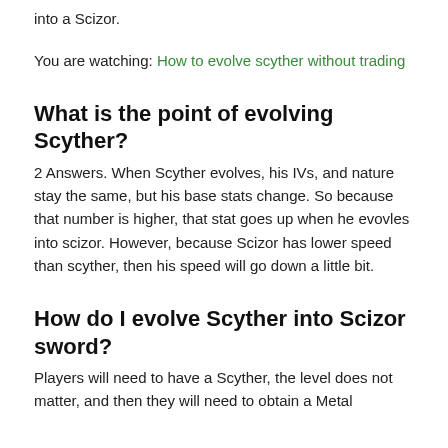into a Scizor.
You are watching: How to evolve scyther without trading
What is the point of evolving Scyther?
2 Answers. When Scyther evolves, his IVs, and nature stay the same, but his base stats change. So because that number is higher, that stat goes up when he evovles into scizor. However, because Scizor has lower speed than scyther, then his speed will go down a little bit.
How do I evolve Scyther into Scizor sword?
Players will need to have a Scyther, the level does not matter, and then they will need to obtain a Metal